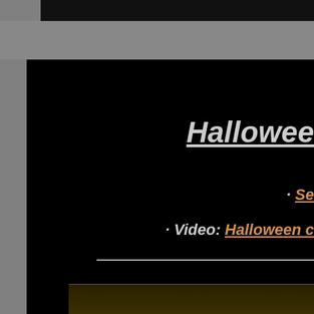Halloween
· Se...
· Video: Halloween c...
Video: Ha...
feat Loren Sinner and Friends at
[Figure (photo): Bottom strip showing a dark scene, partial view of a Halloween-related image]